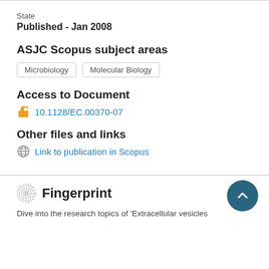State
Published - Jan 2008
ASJC Scopus subject areas
Microbiology
Molecular Biology
Access to Document
10.1128/EC.00370-07
Other files and links
Link to publication in Scopus
Fingerprint
Dive into the research topics of 'Extracellular vesicles